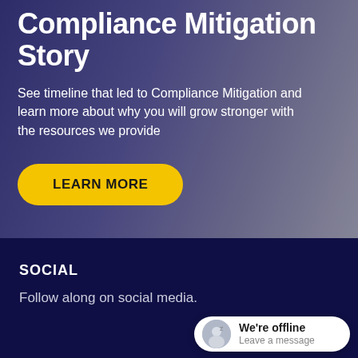Compliance Mitigation Story
See timeline that led to Compliance Mitigation and learn more about why you will grow stronger with the resources we provide
LEARN MORE
SOCIAL
Follow along on social media.
We're offline
Leave a message